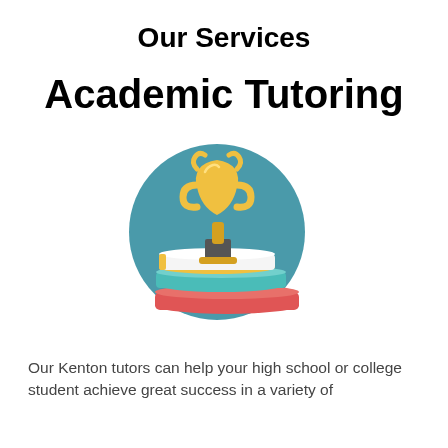Our Services
Academic Tutoring
[Figure (illustration): A trophy cup sitting on top of a stack of books inside a teal circle. The trophy is gold/amber colored. The books include a white book with a yellow spine, a teal book, and a red book at the bottom.]
Our Kenton tutors can help your high school or college student achieve great success in a variety of